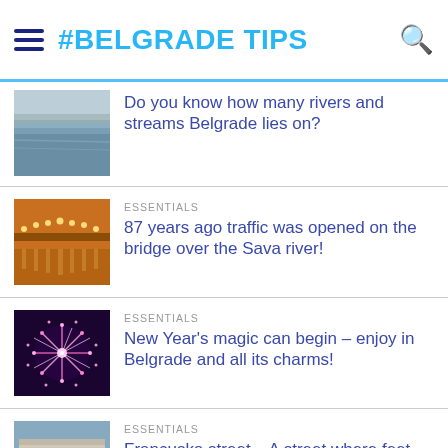#BELGRADE TIPS
[Figure (photo): Aerial view of Belgrade river with fog]
Do you know how many rivers and streams Belgrade lies on?
ESSENTIALS
[Figure (photo): Night photo of illuminated bridge over Sava river]
87 years ago traffic was opened on the bridge over the Sava river!
ESSENTIALS
[Figure (photo): Fireworks display photo]
New Year's magic can begin – enjoy in Belgrade and all its charms!
ESSENTIALS
[Figure (photo): Historic building on Francuska street]
Francuska street – A street where feet walk alone!